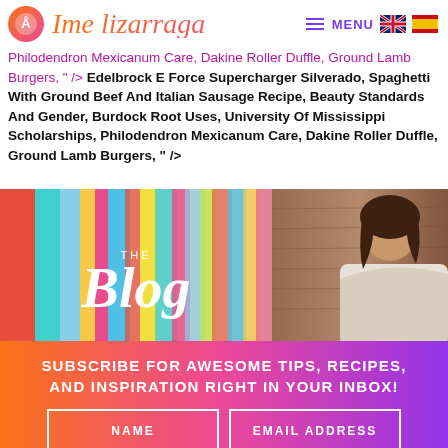Ime Lizarraga — MENU
Philodendron Mexicanum Care, Dakine Roller Duffle, Ground Lamb Burgers, " /> Edelbrock E Force Supercharger Silverado, Spaghetti With Ground Beef And Italian Sausage Recipe, Beauty Standards And Gender, Burdock Root Uses, University Of Mississippi Scholarships, Philodendron Mexicanum Care, Dakine Roller Duffle, Ground Lamb Burgers, " />
[Figure (photo): Blog banner with colorful abstract painted background on left and woman looking away on right, with 'THE Blog' text overlay]
SUBSCRIBE FOR AWESOME TIPS, RECIPES, AND INSPIRATION RIGHT IN YOUR INBOX!
NAME   EMAIL ADDRESS
Yes!